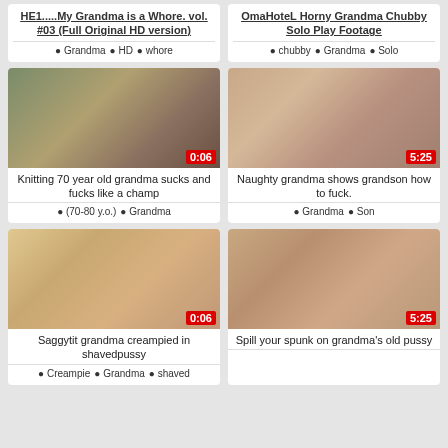HE1.....My Grandma is a Whore. vol. #03 (Full Original HD version)
Grandma · HD · whore
OmaHoteL Horny Grandma Chubby Solo Play Footage
chubby · Grandma · Solo
[Figure (photo): Elderly woman reclining outdoors in chair, duration 0:06]
Knitting 70 year old grandma sucks and fucks like a champ
(70-80 y.o.) · Grandma
[Figure (photo): Adult content thumbnail, duration 5:25]
Naughty grandma shows grandson how to fuck.
Grandma · Son
[Figure (photo): Adult content thumbnail, duration 0:06]
Saggytit grandma creampied in shavedpussy
Creampie · Grandma · shaved
[Figure (photo): Adult content thumbnail, duration 5:25]
Spill your spunk on grandma's old pussy